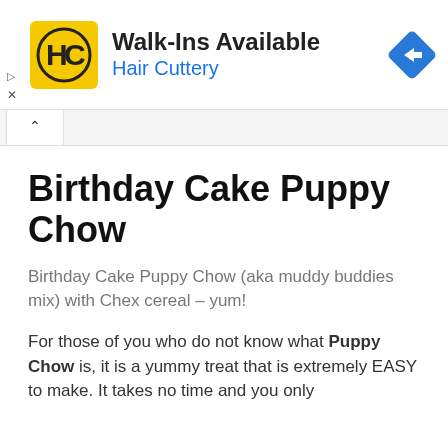[Figure (logo): Hair Cuttery advertisement banner with HC logo, 'Walk-Ins Available' headline, 'Hair Cuttery' subtext in blue, and a blue navigation diamond icon]
Birthday Cake Puppy Chow
Birthday Cake Puppy Chow (aka muddy buddies mix) with Chex cereal – yum!
For those of you who do not know what Puppy Chow is, it is a yummy treat that is extremely EASY to make. It takes no time and you only